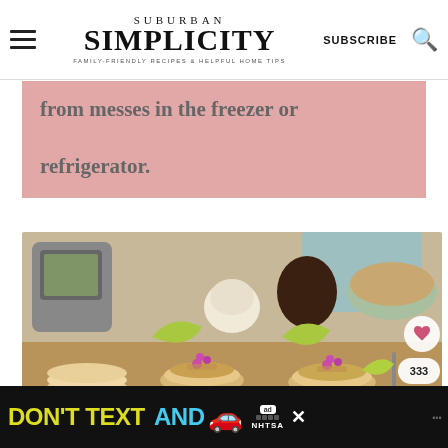SUBURBAN SIMPLICITY — FAMILY-FRIENDLY RECIPES & HELPFUL HOME TIPS | SUBSCRIBE
from messes in the freezer or refrigerator.
[Figure (photo): Food photo showing tacos on small corn tortillas garnished with purple flowers and lime wedges on a wooden board, with garlic, avocado, Instant Pot appliance, and a bowl of shredded meat in the background.]
DON'T TEXT AND [car emoji] ad NHTSA